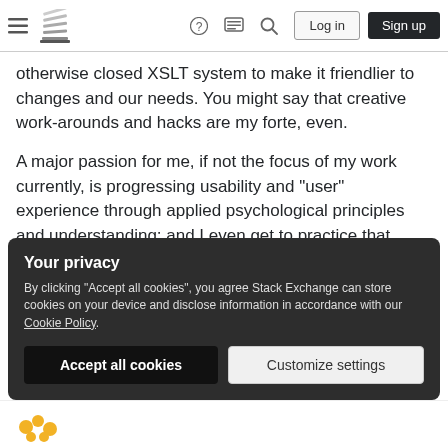Stack Exchange header with hamburger menu, logo, help, chat, search, Log in, Sign up buttons
otherwise closed XSLT system to make it friendlier to changes and our needs. You might say that creative work-arounds and hacks are my forte, even.
A major passion for me, if not the focus of my work currently, is progressing usability and "user" experience through applied psychological principles and understanding; and I even get to practice that every so often!
Outside of work, I'm a mom (of a toddler) with a wide range of
Read more
Your privacy
By clicking "Accept all cookies", you agree Stack Exchange can store cookies on your device and disclose information in accordance with our Cookie Policy.
Accept all cookies    Customize settings